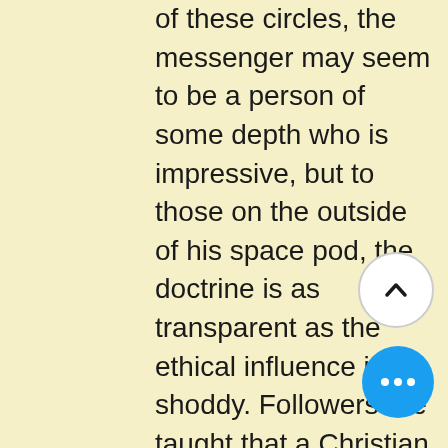of these circles, the messenger may seem to be a person of some depth who is impressive, but to those on the outside of his space pod, the doctrine is as transparent as the ethical influence is shoddy. Followers are taught that a Christian must never go to God to confess sin and ask for forgiveness.  Christ has taken all sin away, past present and future, and there are no laws to break in any case since the law is gone.  Thus when St. John tells the Church that those who say they know God in their Christian lives speaking of sanctification, but who do not keep His commandments is shined on as begin somehow a